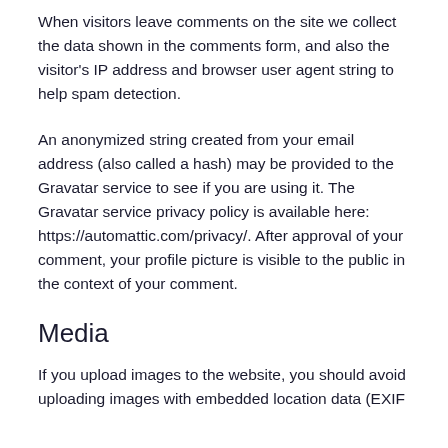When visitors leave comments on the site we collect the data shown in the comments form, and also the visitor's IP address and browser user agent string to help spam detection.
An anonymized string created from your email address (also called a hash) may be provided to the Gravatar service to see if you are using it. The Gravatar service privacy policy is available here: https://automattic.com/privacy/. After approval of your comment, your profile picture is visible to the public in the context of your comment.
Media
If you upload images to the website, you should avoid uploading images with embedded location data (EXIF